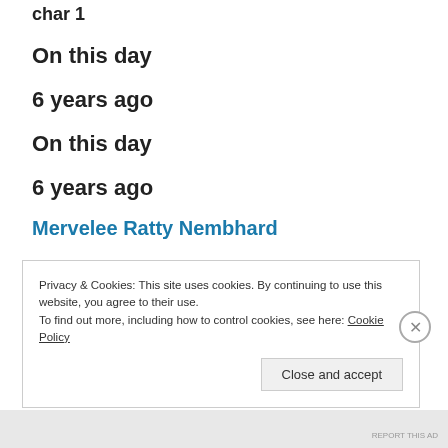char 1
On this day
6 years ago
On this day
6 years ago
Mervelee Ratty Nembhard
June 6, 2016  ·
Privacy & Cookies: This site uses cookies. By continuing to use this website, you agree to their use.
To find out more, including how to control cookies, see here: Cookie Policy
Close and accept